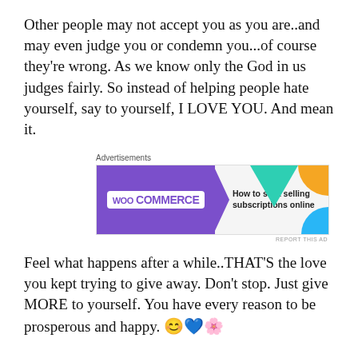Other people may not accept you as you are..and may even judge you or condemn you...of course they're wrong. As we know only the God in us judges fairly. So instead of helping people hate yourself, say to yourself, I LOVE YOU. And mean it.
[Figure (screenshot): Advertisement banner for WooCommerce showing logo and text 'How to start selling subscriptions online']
Feel what happens after a while..THAT'S the love you kept trying to give away. Don't stop. Just give MORE to yourself. You have every reason to be prosperous and happy. 😊💙🌸